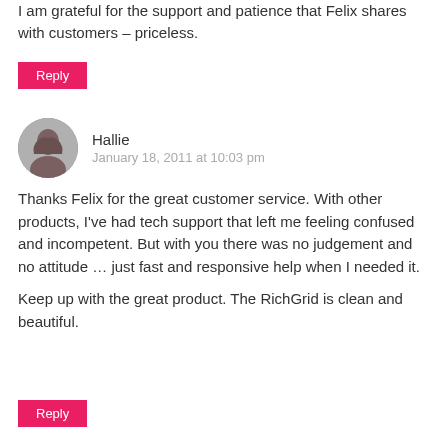I am grateful for the support and patience that Felix shares with customers – priceless.
Reply
Hallie
January 18, 2011 at 10:03 pm
Thanks Felix for the great customer service. With other products, I've had tech support that left me feeling confused and incompetent. But with you there was no judgement and no attitude … just fast and responsive help when I needed it.
Keep up with the great product. The RichGrid is clean and beautiful.
Reply